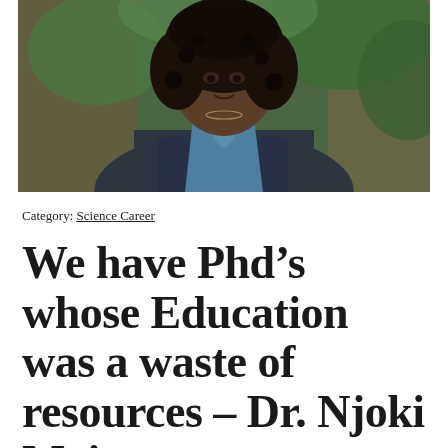[Figure (photo): Portrait photograph of a woman with curly hair wearing a blue blouse and dark floral blazer, seated in front of a tree with green foliage in the background.]
Category: Science Career
We have Phd’s whose Education was a waste of resources – Dr. Njoki Maina